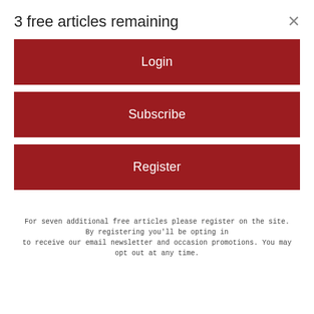3 free articles remaining
[Figure (screenshot): Login button — red background with white text]
[Figure (screenshot): Subscribe button — red background with white text]
[Figure (screenshot): Register button — red background with white text]
For seven additional free articles please register on the site. By registering you'll be opting in to receive our email newsletter and occasion promotions. You may opt out at any time.
the state for permission to introduce ranked-choice voting in the city's local elections.
The council also passed an order that